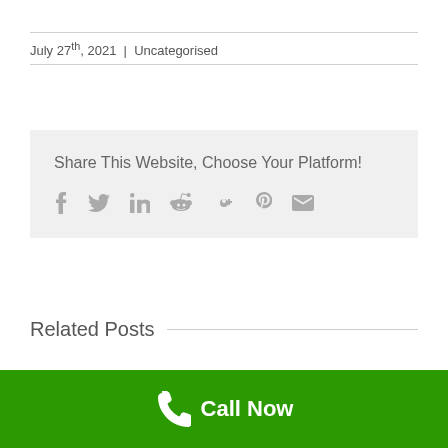July 27th, 2021  |  Uncategorised
[Figure (infographic): Share This Website, Choose Your Platform! with social media icons: Facebook, Twitter, LinkedIn, Reddit, Google+, Pinterest, Email]
Related Posts
Call Now